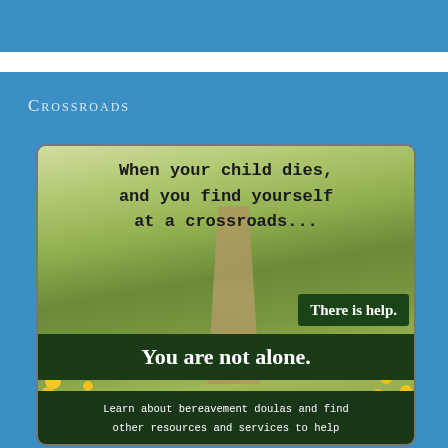Crossroads
[Figure (illustration): An inspirational image showing a path through a field of yellow wildflowers with green grass, overlaid with text: 'When your child dies, and you find yourself at a crossroads...' in typewriter font, then 'There is help.' in a dark green box, 'You are not alone.' in a large dark green box, and 'Learn about bereavement doulas and find other resources and services to help' in a dark green box at the bottom.]